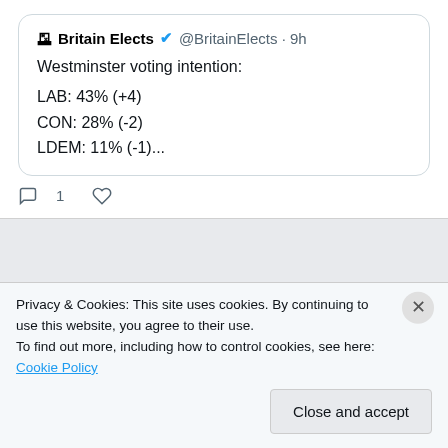[Figure (screenshot): Quoted tweet from Britain Elects (@BritainElects) posted 9h ago showing Westminster voting intention poll: LAB: 43% (+4), CON: 28% (-2), LDEM: 11% (-1)...]
Westminster voting intention:

LAB: 43% (+4)
CON: 28% (-2)
LDEM: 11% (-1)...
Martin Warne 🌹 Retweeted
Michael Bell @kunlaborulo · Aug 17
WE'RE AN INDEPENDENT POLITICAL PARTY, BUT WE HAVE AN ELECTORAL PACT WITH
Privacy & Cookies: This site uses cookies. By continuing to use this website, you agree to their use.
To find out more, including how to control cookies, see here: Cookie Policy